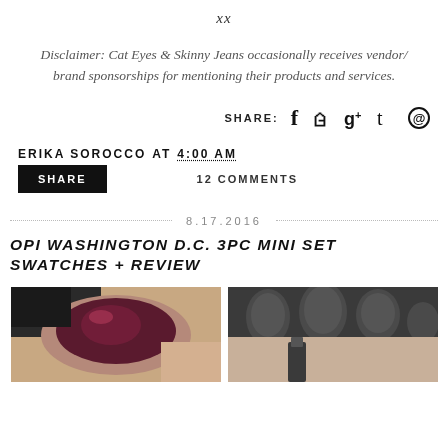xx
Disclaimer: Cat Eyes & Skinny Jeans occasionally receives vendor/ brand sponsorships for mentioning their products and services.
SHARE: f ♥ g+ t ⊕
ERIKA SOROCCO AT 4:00 AM
12 COMMENTS
SHARE
8.17.2016
OPI WASHINGTON D.C. 3PC MINI SET SWATCHES + REVIEW
[Figure (photo): Two nail polish swatches side by side: left shows a dark burgundy/plum nail polish on a hand, right shows a dark charcoal/grey nail polish on a hand holding a bottle.]